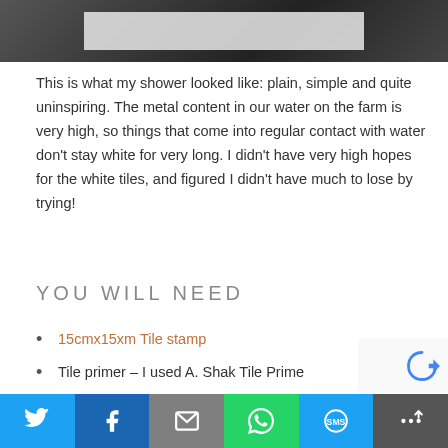[Figure (photo): Partial view of a shower with white tiles and dark border/frame at top]
This is what my shower looked like: plain, simple and quite uninspiring. The metal content in our water on the farm is very high, so things that come into regular contact with water don't stay white for very long. I didn't have very high hopes for the white tiles, and figured I didn't have much to lose by trying!
YOU WILL NEED
15cmx15xm Tile stamp
Tile primer – I used A. Shak Tile Prime
Water-based paint, suitable for use in a bathroom – I used Plascon Polvin Matt Acrylic in black
Sponge rollers and pans – 1 for the primer and 1 for each paint colour
[Figure (infographic): Social sharing bar with Twitter, Facebook, Email, WhatsApp, SMS, and More buttons]